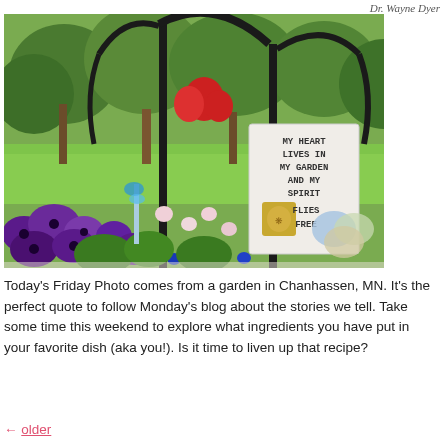Dr. Wayne Dyer
[Figure (photo): Garden photo showing colorful flowers (purple pansies, red flowers, blue flowers) with a black metal arch/arbor structure. A white sign reads 'MY HEART LIVES IN MY GARDEN AND MY SPIRIT FLIES FREE' with a decorative gold emblem. Green trees in background. Small decorative circles (blue, green, tan) visible in bottom right corner.]
Today's Friday Photo comes from a garden in Chanhassen, MN. It's the perfect quote to follow Monday's blog about the stories we tell. Take some time this weekend to explore what ingredients you have put in your favorite dish (aka you!). Is it time to liven up that recipe?
← older